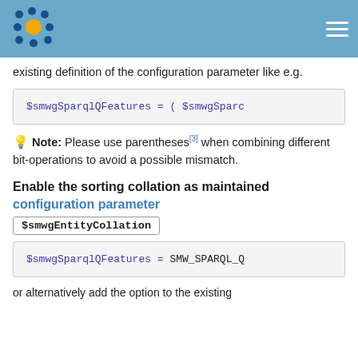Semantic MediaWiki documentation
existing definition of the configuration parameter like e.g.
$smwgSparqlQFeatures = ( $smwgSparc
Note: Please use parentheses[3] when combining different bit-operations to avoid a possible mismatch.
Enable the sorting collation as maintained configuration parameter
$smwgEntityCollation
$smwgSparqlQFeatures = SMW_SPARQL_Q
or alternatively add the option to the existing